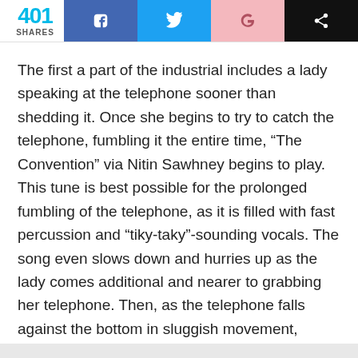401 SHARES
The first a part of the industrial includes a lady speaking at the telephone sooner than shedding it. Once she begins to try to catch the telephone, fumbling it the entire time, “The Convention” via Nitin Sawhney begins to play. This tune is best possible for the prolonged fumbling of the telephone, as it is filled with fast percussion and “tiky-taky”-sounding vocals. The song even slows down and hurries up as the lady comes additional and nearer to grabbing her telephone. Then, as the telephone falls against the bottom in sluggish movement, Sawhney begins making a song at an much more speedy tempo, virtually sounding like an auctioneer. The telephone hits the